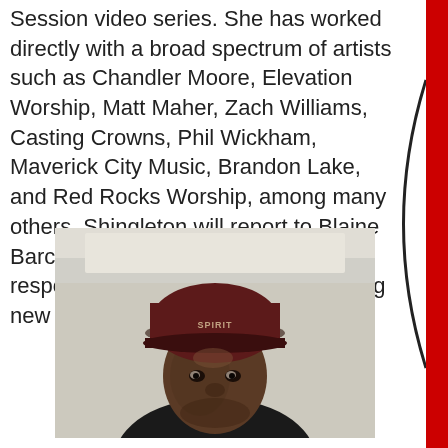Session video series. She has worked directly with a broad spectrum of artists such as Chandler Moore, Elevation Worship, Matt Maher, Zach Williams, Casting Crowns, Phil Wickham, Maverick City Music, Brandon Lake, and Red Rocks Worship, among many others. Shingleton will report to Blaine Barcus, SVP of A&R, and be responsible for developing and signing new artists to the label roster.
[Figure (photo): Photo of a young Black man wearing a dark red/maroon baseball cap with text on it and a dark jacket, photographed indoors against a light background.]